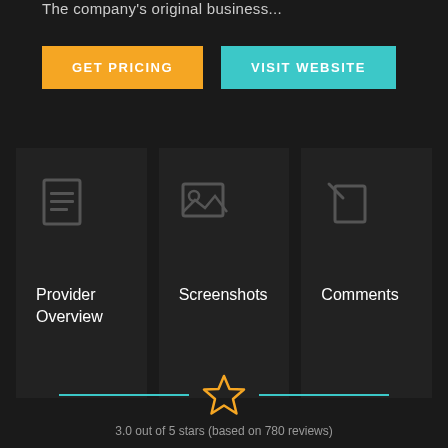The company's original business...
[Figure (screenshot): Two buttons: 'GET PRICING' (orange) and 'VISIT WEBSITE' (teal/cyan)]
[Figure (infographic): Three navigation cards on dark background: 'Provider Overview' with document icon, 'Screenshots' with image icon, 'Comments' with pencil/document icon]
[Figure (infographic): Horizontal divider with teal lines and an orange star icon in the center]
3.0 out of 5 stars (based on 780 reviews)